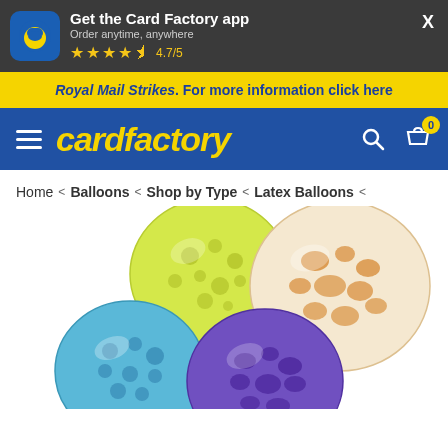Get the Card Factory app — Order anytime, anywhere — 4.7/5
Royal Mail Strikes. For more information click here
cardfactory
Home < Balloons < Shop by Type < Latex Balloons <
[Figure (photo): Four spotted latex balloons in yellow, orange, blue and purple arranged in a cluster on white background]